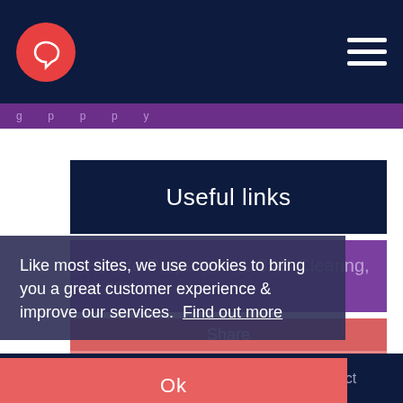G [logo] [hamburger menu]
g ... p ... p ... p ... y
Useful links
How to Prepare for UCAS Clearing, in ca...
Share
Like most sites, we use cookies to bring you a great customer experience & improve our services. Find out more
Ok
About   T&Cs   Contact